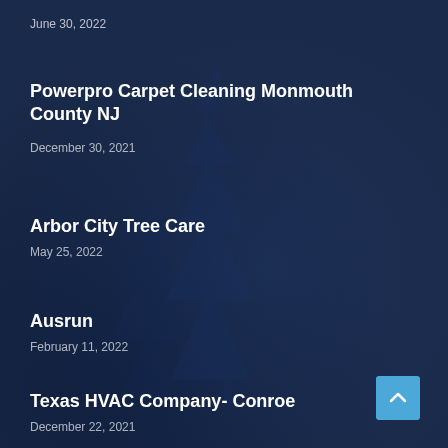June 30, 2022
Powerpro Carpet Cleaning Monmouth County NJ
December 30, 2021
Arbor City Tree Care
May 25, 2022
Ausrun
February 11, 2022
Texas HVAC Company- Conroe
December 22, 2021